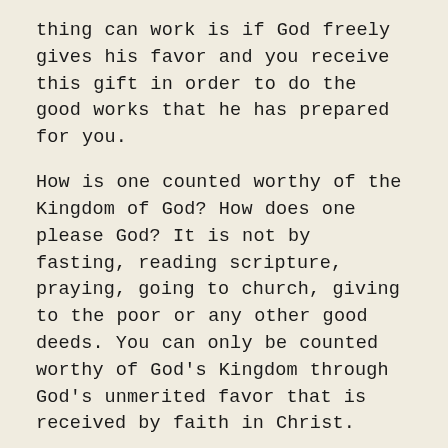thing can work is if God freely gives his favor and you receive this gift in order to do the good works that he has prepared for you.
How is one counted worthy of the Kingdom of God? How does one please God? It is not by fasting, reading scripture, praying, going to church, giving to the poor or any other good deeds. You can only be counted worthy of God's Kingdom through God's unmerited favor that is received by faith in Christ.
Once you receive the great gift that Jesus holds out to you through his death and resurrection, that is when your life starts bearing the marks, the evidence, of God's favor. So, the question for us today is this: Do we bear evidence of God's favor in our lives? What are the marks that prove God has counted us worthy of His Kingdom?
In our passage today, there were four evidences that